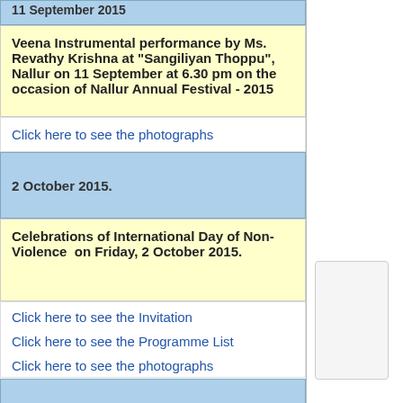11 September 2015
Veena Instrumental performance by Ms. Revathy Krishna at "Sangiliyan Thoppu", Nallur on 11 September at 6.30 pm on the occasion of Nallur Annual Festival - 2015
Click here to see the photographs
2 October 2015.
Celebrations of International Day of Non-Violence on Friday, 2 October 2015.
Click here to see the Invitation
Click here to see the Programme List
Click here to see the photographs
8 October, 2015
Visit of the 44 member Indian Trade delegation of the Young Entrepreneurs School (YES) from Tamil Nadu to